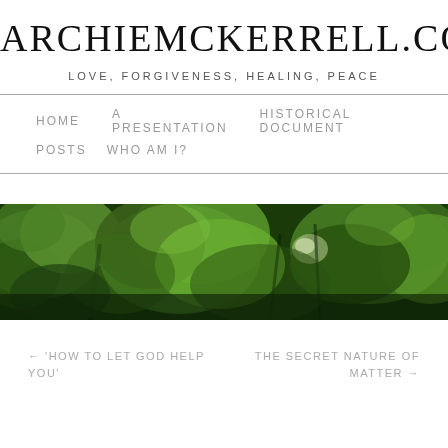ARCHIEMCKERRELL.COM
LOVE, FORGIVENESS, HEALING, PEACE
HOME
A PRESENTATION
HISTORICAL DOCUMENT
POSTS
WHO AM I?
[Figure (photo): A lush green forest/trees canopy photograph used as a hero banner image]
← 'HOW TO LET GOD HELP YOU'
THE SECRET NATURE OF MATTER →